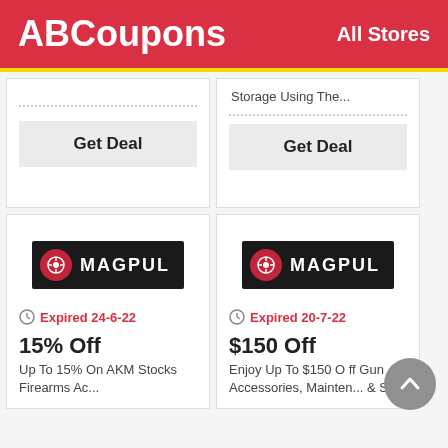ABCoupons  All Stores
Storage Using The...
Get Deal
Get Deal
[Figure (logo): Magpul logo - black background with red circle icon and white MAGPUL text]
Expired 24-6-22
15% Off
Up To 15% On AKM Stocks Firearms Ac...
[Figure (logo): Magpul logo - black background with red circle icon and white MAGPUL text]
Expired 20-7-22
$150 Off
Enjoy Up To $150 Off Gun Accessories, Mainten... & St...